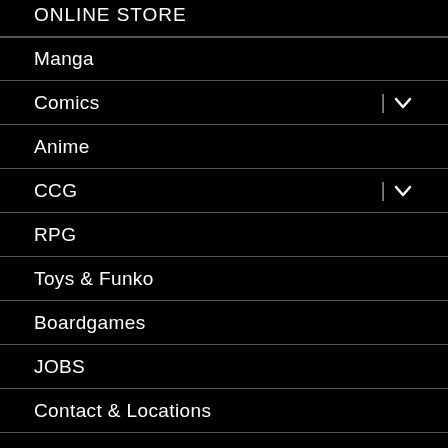ONLINE STORE
Manga
Comics
Anime
CCG
RPG
Toys & Funko
Boardgames
JOBS
Contact & Locations